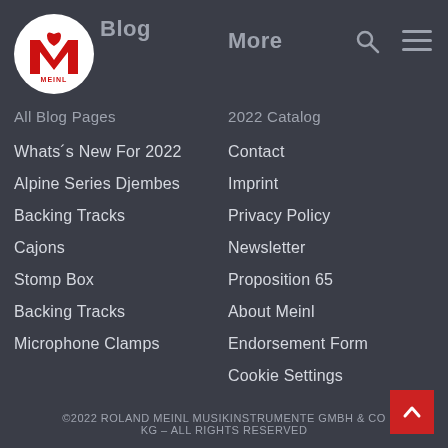[Figure (logo): Meinl circular logo with red M symbol on white background]
Blog
More
All Blog Pages
Whats´s New For 2022
Alpine Series Djembes
Backing Tracks
Cajons
Stomp Box
Backing Tracks
Microphone Clamps
2022 Catalog
Contact
Imprint
Privacy Policy
Newsletter
Proposition 65
About Meinl
Endorsement Form
Cookie Settings
Dealer Locator
Meinl Percussion Wiki
©2022 ROLAND MEINL MUSIKINSTRUMENTE GMBH & CO KG - ALL RIGHTS RESERVED